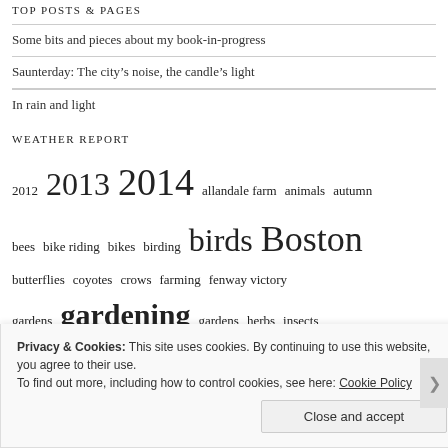TOP POSTS & PAGES
Some bits and pieces about my book-in-progress
Saunterday: The city's noise, the candle's light
In rain and light
WEATHER REPORT
2012 2013 2014 allandale farm animals autumn bees bike riding bikes birding birds Boston butterflies coyotes crows farming fenway victory gardens gardening gardens herbs insects massachusetts medicinal herbs moths MudSongs
Privacy & Cookies: This site uses cookies. By continuing to use this website, you agree to their use.
To find out more, including how to control cookies, see here: Cookie Policy
Close and accept